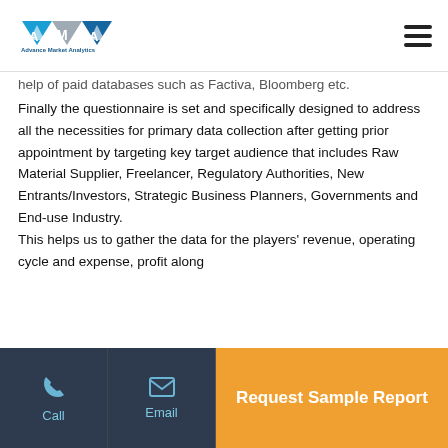Advance Market Analytics
help of paid databases such as Factiva, Bloomberg etc.
Finally the questionnaire is set and specifically designed to address all the necessities for primary data collection after getting prior appointment by targeting key target audience that includes Raw Material Supplier, Freelancer, Regulatory Authorities, New Entrants/Investors, Strategic Business Planners, Governments and End-use Industry.
This helps us to gather the data for the players' revenue, operating cycle and expense, profit along
Call | Email | Request Sample Report